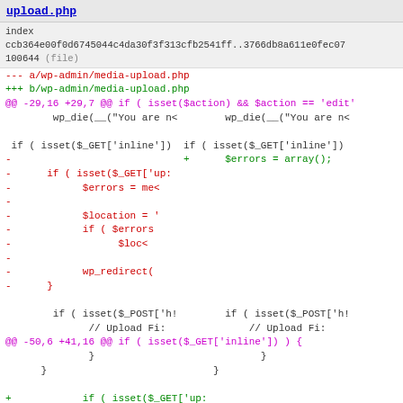upload.php
index
ccb364e00f0d6745044c4da30f3f313cfb2541ff..3766db8a611e0fec07
100644 (file)
--- a/wp-admin/media-upload.php
+++ b/wp-admin/media-upload.php
@@ -29,16 +29,7 @@ if ( isset($action) && $action == 'edit'
Code diff content showing removed and added lines for upload.php